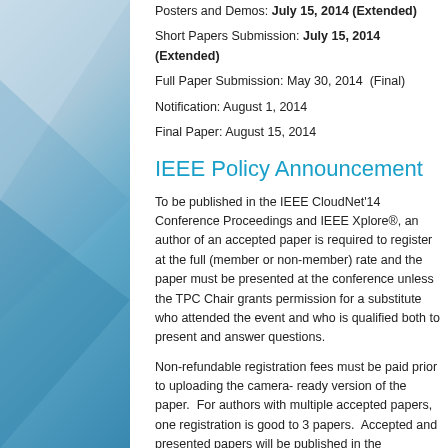Posters and Demos: July 15, 2014 (Extended)
Short Papers Submission: July 15, 2014 (Extended)
Full Paper Submission: May 30, 2014 (Final)
Notification: August 1, 2014
Final Paper: August 15, 2014
IEEE Policy Announcement
To be published in the IEEE CloudNet'14 Conference Proceedings and IEEE Xplore®, an author of an accepted paper is required to register at the full (member or non-member) rate and the paper must be presented at the conference unless the TPC Chair grants permission for a substitute who attended the event and who is qualified both to present and answer questions.
Non-refundable registration fees must be paid prior to uploading the final camera-ready version of the paper. For authors with multiple accepted papers, one registration is good for up to 3 papers. Accepted and presented papers will be published in the Conference Proceedings and submitted to IEEE Xplore®.
Supporting Journal Special Issues
Selected best papers of the IEEE CloudNet'14 will be recommended for submission to international journals:
IEEE Transactions on Cloud Computing, special issue
Journal of Grid Computing (Impact Factor 1.603), sp... (Call for Papers)
International Journal of Metaheuristics, Special iss...